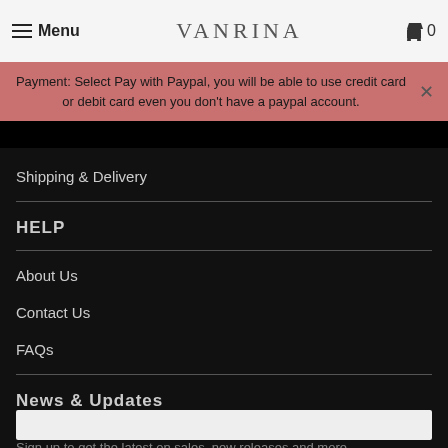Menu | VANRINA | 0
Payment: Select Pay with Paypal, you will be able to use credit card or debit card even you don't have a paypal account.
Shipping & Delivery
HELP
About Us
Contact Us
FAQs
News & Updates
Sign up to get the latest on sales, new releases and more…